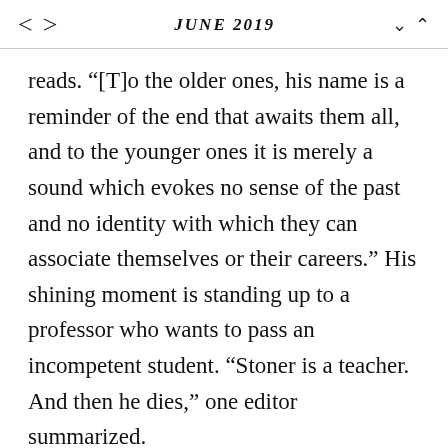JUNE 2019
reads. “[T]o the older ones, his name is a reminder of the end that awaits them all, and to the younger ones it is merely a sound which evokes no sense of the past and no identity with which they can associate themselves or their careers.” His shining moment is standing up to a professor who wants to pass an incompetent student. “Stoner is a teacher. And then he dies,” one editor summarized.
Amid the wild literary experiments of his time, Williams found his lackluster subject